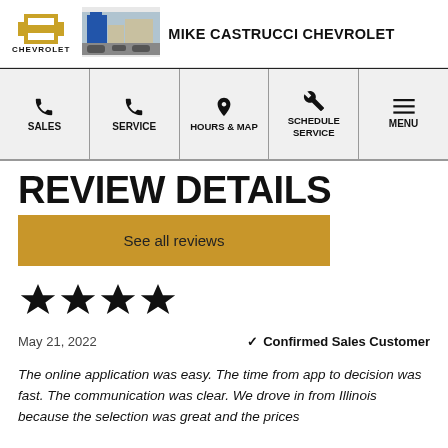[Figure (logo): Chevrolet bowtie logo with dealer building photo and Mike Castrucci Chevrolet text]
MIKE CASTRUCCI CHEVROLET
[Figure (infographic): Navigation bar with Sales, Service, Hours & Map, Schedule Service, Menu icons]
REVIEW DETAILS
See all reviews
[Figure (infographic): 4 black star rating]
May 21, 2022
✓ Confirmed Sales Customer
The online application was easy. The time from app to decision was fast. The communication was clear. We drove in from Illinois because the selection was great and the prices